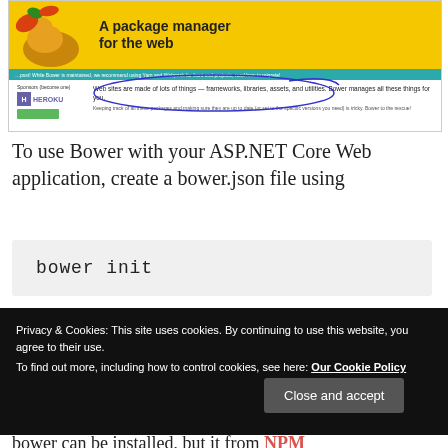[Figure (screenshot): Screenshot of Bower website showing logo with bird illustration, title 'A package manager for the web', teal announcement bar, Heroku sponsor logo, and descriptive text about Bower managing web packages. A hand-drawn oval annotation is visible.]
To use Bower with your ASP.NET Core Web application, create a bower.json file using
bower init
Privacy & Cookies: This site uses cookies. By continuing to use this website, you agree to their use.
To find out more, including how to control cookies, see here: Our Cookie Policy
bower can be installed, but it from NPM